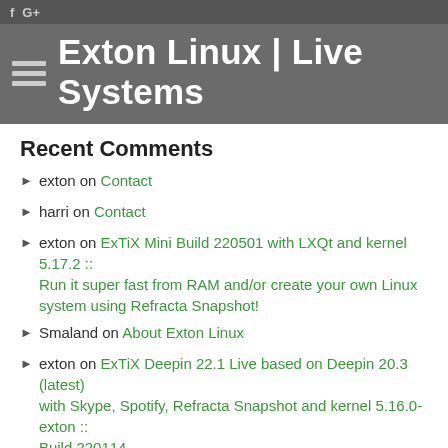f G+ | Exton Linux | Live Systems
Recent Comments
exton on Contact
harri on Contact
exton on ExTiX Mini Build 220501 with LXQt and kernel 5.17.2 :: Run it super fast from RAM and/or create your own Linux system using Refracta Snapshot!
Smaland on About Exton Linux
exton on ExTiX Deepin 22.1 Live based on Deepin 20.3 (latest) with Skype, Spotify, Refracta Snapshot and kernel 5.16.0-exton :: Build 220114
Archives
August 2022
July 2022